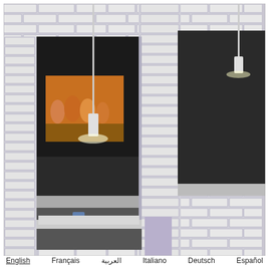[Figure (photo): Interior view of a building with white brick walls and columns, showing two open window/doorway openings with pendant lights hanging inside. Through the left opening, a warmly lit gallery with figures in a painting is visible. The scene is a museum or gallery interior model or real space with white brick cladding and lavender mortar joints.]
English   Français   العربية   Italiano   Deutsch   Español